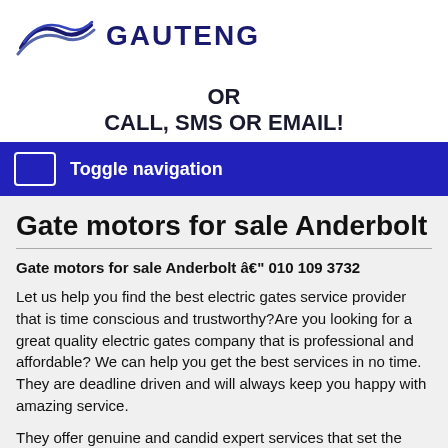[Figure (logo): Gauteng logo with swoosh lines and text GAUTENG]
OR
CALL, SMS OR EMAIL!
Toggle navigation
Gate motors for sale Anderbolt
Gate motors for sale Anderbolt â€" 010 109 3732
Let us help you find the best electric gates service provider that is time conscious and trustworthy?Are you looking for a great quality electric gates company that is professional and affordable? We can help you get the best services in no time. They are deadline driven and will always keep you happy with amazing service.
They offer genuine and candid expert services that set the tone for what